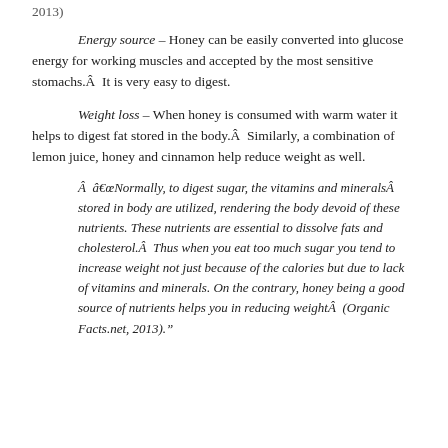2013)
Energy source – Honey can be easily converted into glucose energy for working muscles and accepted by the most sensitive stomachs.Â  It is very easy to digest.
Weight loss – When honey is consumed with warm water it helps to digest fat stored in the body.Â  Similarly, a combination of lemon juice, honey and cinnamon help reduce weight as well.
Â  â€œNormally, to digest sugar, the vitamins and mineralsÂ stored in body are utilized, rendering the body devoid of these nutrients. These nutrients are essential to dissolve fats and cholesterol.Â  Thus when you eat too much sugar you tend to increase weight not just because of the calories but due to lack of vitamins and minerals. On the contrary, honey being a good source of nutrients helps you in reducing weightÂ  (Organic Facts.net, 2013)."